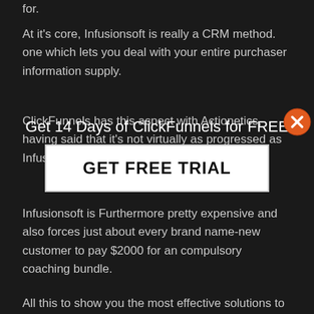for.
At it's core, Infusionsoft is really a CRM method. one which lets you deal with your entire purchaser information supply.
ClickFunnels has this aspect with Actionetics, having said that it's not virtually as progressed as Infusionsoft.
[Figure (infographic): Modal overlay with orange X close button, title 'Get 14 Days of ClickFunnels for FREE', and a white GET FREE TRIAL button]
Infusionsoft is Furthermore pretty expensive and also forces just about every brand name-new customer to pay $2000 for an compulsory coaching bundle.
All this to show you the most effective solutions to